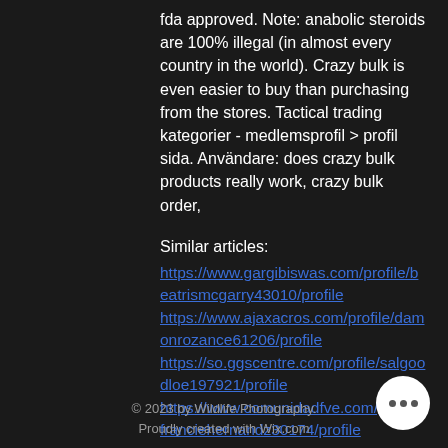fda approved. Note: anabolic steroids are 100% illegal (in almost every country in the world). Crazy bulk is even easier to buy than purchasing from the stores. Tactical trading kategorier - medlemsprofil &gt; profil sida. Användare: does crazy bulk products really work, crazy bulk order,
Similar articles:
https://www.gargibiswas.com/profile/beatrismcgarry43010/profile
https://www.ajaxacros.com/profile/damonrozance61206/profile
https://so.ggscentre.com/profile/salgoodloe197921/profile
https://www.comunidadfve.com/profile/franciehernandz30174/profile
© 2023 by Wildlife Photography. Proudly created with Wix.com